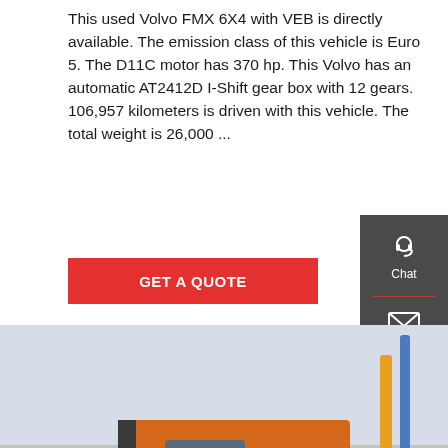This used Volvo FMX 6X4 with VEB is directly available. The emission class of this vehicle is Euro 5. The D11C motor has 370 hp. This Volvo has an automatic AT2412D I-Shift gear box with 12 gears. 106,957 kilometers is driven with this vehicle. The total weight is 26,000 ...
[Figure (other): Red GET A QUOTE button]
[Figure (other): Dark sidebar with Chat, Email, and Contact icons on the right side]
[Figure (photo): Orange Volvo FMX 6X4 truck photographed from the rear-left angle in a truck yard with other red trucks in the background. The truck has a crane/hook-lift system mounted. Brand mark BONO visible.]